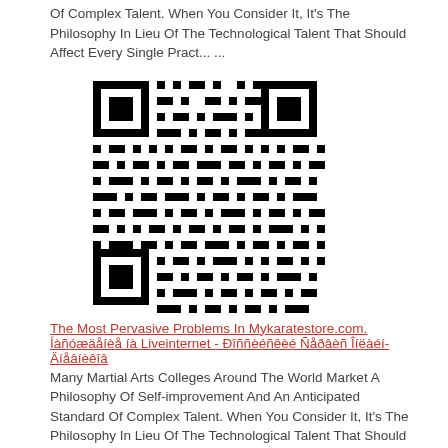Of Complex Talent. When You Consider It, It&#39;s The Philosophy In Lieu Of The Technological Talent That Should Affect Every Single Pract... ...
[Figure (other): QR code image]
The Most Pervasive Problems In Mykaratestore.com. Íàñóæäåíèå íà Liveinternet - Ðîññèéñêèé Ñåðâèñ Îíëàéí-Äíåâíèêîâ
Many Martial Arts Colleges Around The World Market A Philosophy Of Self-improvement And An Anticipated Standard Of Complex Talent. When You Consider It, It&#39;s The Philosophy In Lieu Of The Technological Talent That Should Affect Every Single Pract... ...
[Figure (other): QR code image]
The Most Pervasive Problems In